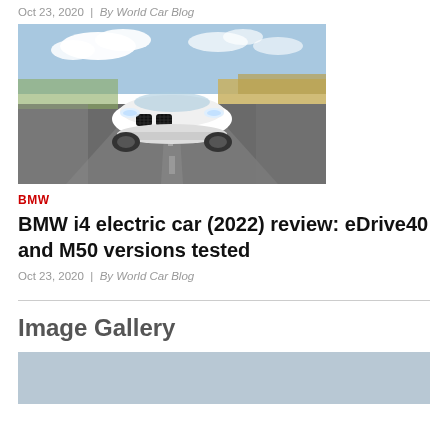Oct 23, 2020  |  By World Car Blog
[Figure (photo): Front view of a white BMW i4 electric car driving on a road with blurred background showing fields and sky]
BMW
BMW i4 electric car (2022) review: eDrive40 and M50 versions tested
Oct 23, 2020  |  By World Car Blog
Image Gallery
[Figure (photo): Partial view of a car image gallery placeholder, light blue-grey color]